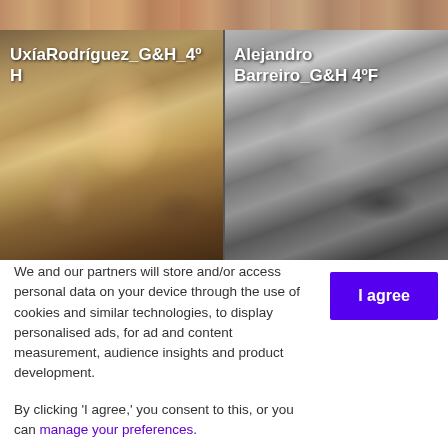[Figure (photo): Top strip showing partial historical painting/artwork]
[Figure (photo): Left image: Delacroix Liberty Leading the People painting with label UxíaRodríguez_G&H_4ºH overlaid]
[Figure (photo): Right image: Black and white photo of early automobile with label Alejandro Barreiro_G&H 4ºF overlaid]
We and our partners will store and/or access personal data on your device through the use of cookies and similar technologies, to display personalised ads, for ad and content measurement, audience insights and product development.

By clicking 'I agree,' you consent to this, or you can manage your preferences.